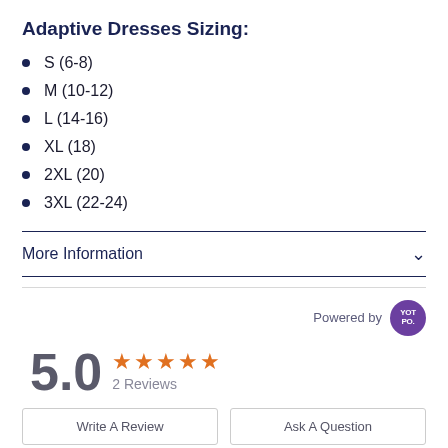Adaptive Dresses Sizing:
S (6-8)
M (10-12)
L (14-16)
XL (18)
2XL (20)
3XL (22-24)
More Information
Powered by YOTPO
5.0  ★★★★★  2 Reviews
Write A Review    Ask A Question